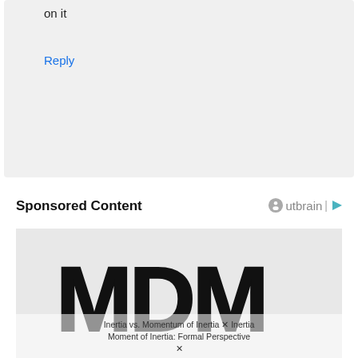on it
Reply
Sponsored Content
[Figure (illustration): MDM logo in bold black brush-stroke lettering on a light gray background, with overlay text about Inertia vs. Momentum of Inertia and Formal Perspective]
Inertia vs. Momentum of Inertia: Formal Perspective